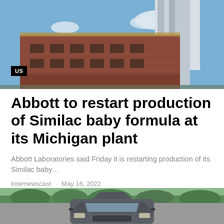[Figure (photo): Industrial building with brick facade and large white structure/silos, photographed against a blue sky with clouds]
US
Abbott to restart production of Similac baby formula at its Michigan plant
Abbott Laboratories said Friday it is restarting production of its Similac baby…
Internewscast · May 16, 2022
[Figure (photo): A dark-colored car viewed from the front, driving on a road with green trees and open landscape in the background]